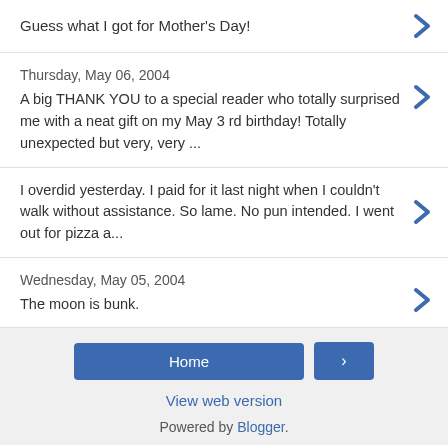Guess what I got for Mother's Day!
Thursday, May 06, 2004
A big THANK YOU to a special reader who totally surprised me with a neat gift on my May 3 rd birthday! Totally unexpected but very, very ...
I overdid yesterday. I paid for it last night when I couldn't walk without assistance. So lame. No pun intended. I went out for pizza a...
Wednesday, May 05, 2004
The moon is bunk.
Home | › | View web version | Powered by Blogger.